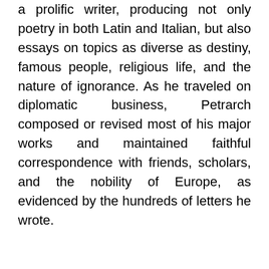a prolific writer, producing not only poetry in both Latin and Italian, but also essays on topics as diverse as destiny, famous people, religious life, and the nature of ignorance. As he traveled on diplomatic business, Petrarch composed or revised most of his major works and maintained faithful correspondence with friends, scholars, and the nobility of Europe, as evidenced by the hundreds of letters he wrote.